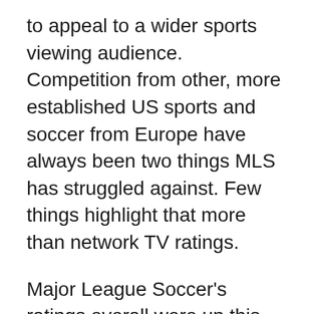to appeal to a wider sports viewing audience. Competition from other, more established US sports and soccer from Europe have always been two things MLS has struggled against. Few things highlight that more than network TV ratings.
Major League Soccer's ratings overall were up this past season compared to 2020. The five matches this season shown on ABC, the most broadcast on network TV since 1998, delivered an average of 507,000 viewers. Last year, three matches on ABC averaged just 318,000 viewers. That's not easy to repackage as success. The expectations on over-air TV are greater because more people have access to the games.